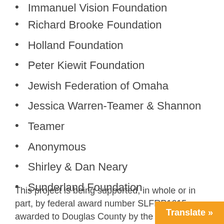Immanuel Vision Foundation
Richard Brooke Foundation
Holland Foundation
Peter Kiewit Foundation
Jewish Federation of Omaha
Jessica Warren-Teamer & Shannon
Teamer
Anonymous
Shirley & Dan Neary
Sunderland Foundation
This project is being supported, in whole or in part, by federal award number SLFRP1615 awarded to Douglas County by the U.S. Department of the Treasury.
Translate »